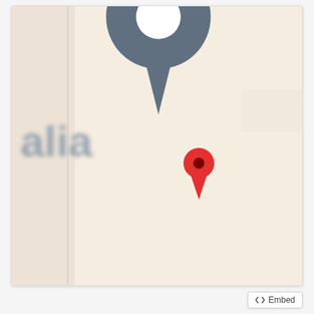[Figure (map): A map screenshot showing a location in Australia. A large grey map pin marker is displayed prominently in the upper-center area of the map, with a smaller red location pin marker slightly overlapping it to the right. The text 'alia' (partial, likely part of 'Australia') is visible on the left side of the map in a blurred/out-of-focus style. The map background is a light beige/cream color typical of Google Maps style.]
</> Embed